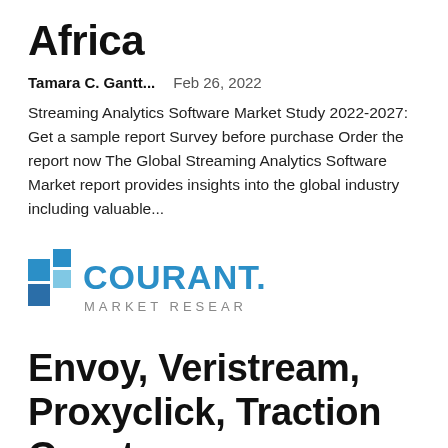Africa
Tamara C. Gantt...   Feb 26, 2022
Streaming Analytics Software Market Study 2022-2027: Get a sample report Survey before purchase Order the report now The Global Streaming Analytics Software Market report provides insights into the global industry including valuable...
[Figure (logo): Courant Market Research logo — blue geometric icon on left, 'COURANT.' in large teal/blue bold text, 'MARKET RESEAR' in smaller gray spaced caps below]
Envoy, Veristream, Proxyclick, Traction Guest, SwipedOn, iLobby, Sino